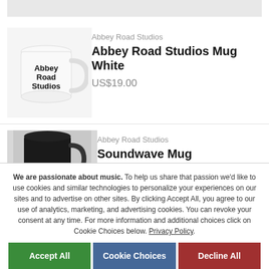[Figure (photo): Partial top image, cropped gray rectangle]
[Figure (photo): Abbey Road Studios white mug with black text logo]
Abbey Road Studios
Abbey Road Studios Mug White
US$19.00
[Figure (photo): Soundwave Mug - dark/black mug on gray background, partially cropped]
Abbey Road Studios
Soundwave Mug
US$19.00
We are passionate about music. To help us share that passion we'd like to use cookies and similar technologies to personalize your experiences on our sites and to advertise on other sites. By clicking Accept All, you agree to our use of analytics, marketing, and advertising cookies. You can revoke your consent at any time. For more information and additional choices click on Cookie Choices below. Privacy Policy.
Accept All
Cookie Choices
Decline All